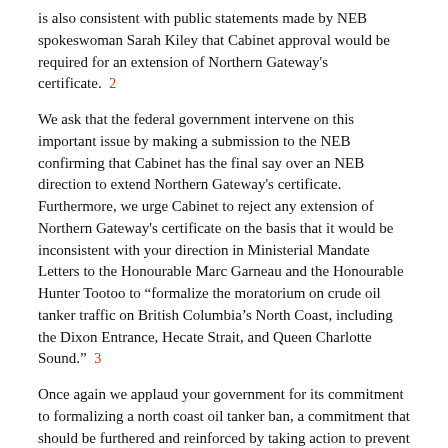is also consistent with public statements made by NEB spokeswoman Sarah Kiley that Cabinet approval would be required for an extension of Northern Gateway's certificate. 2
We ask that the federal government intervene on this important issue by making a submission to the NEB confirming that Cabinet has the final say over an NEB direction to extend Northern Gateway's certificate. Furthermore, we urge Cabinet to reject any extension of Northern Gateway's certificate on the basis that it would be inconsistent with your direction in Ministerial Mandate Letters to the Honourable Marc Garneau and the Honourable Hunter Tootoo to “formalize the moratorium on crude oil tanker traffic on British Columbia’s North Coast, including the Dixon Entrance, Hecate Strait, and Queen Charlotte Sound.” 3
Once again we applaud your government for its commitment to formalizing a north coast oil tanker ban, a commitment that should be furthered and reinforced by taking action to prevent Northern Gateway from extending its federal approval.
Sincerely,
Friends of Wild Salmon Coalition